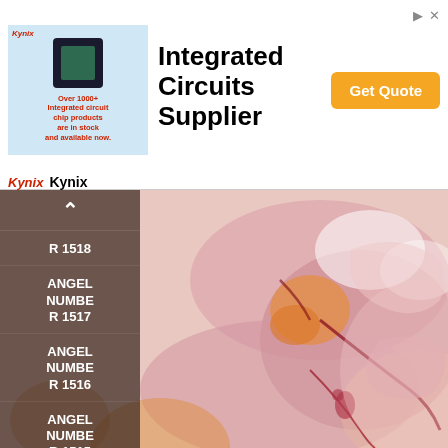[Figure (other): Advertisement banner for Kynix Integrated Circuits Supplier with chip image, 'Get Quote' button, and Kynix logo]
[Figure (other): Navigation sidebar with up arrow and list of Angel Number links (1518, 1517, 1516, 1515, 1514, 1513, 1512) overlaid on a pink/orange watercolor abstract background illustration]